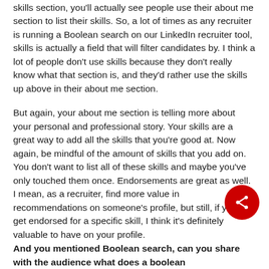skills section, you'll actually see people use their about me section to list their skills. So, a lot of times as any recruiter is running a Boolean search on our LinkedIn recruiter tool, skills is actually a field that will filter candidates by. I think a lot of people don't use skills because they don't really know what that section is, and they'd rather use the skills up above in their about me section.
But again, your about me section is telling more about your personal and professional story. Your skills are a great way to add all the skills that you're good at. Now again, be mindful of the amount of skills that you add on. You don't want to list all of these skills and maybe you've only touched them once. Endorsements are great as well. I mean, as a recruiter, find more value in recommendations on someone's profile, but still, if you can get endorsed for a specific skill, I think it's definitely valuable to have on your profile.
[Figure (other): Red circular share button with share icon]
And you mentioned Boolean search, can you share with the audience what does a boolean